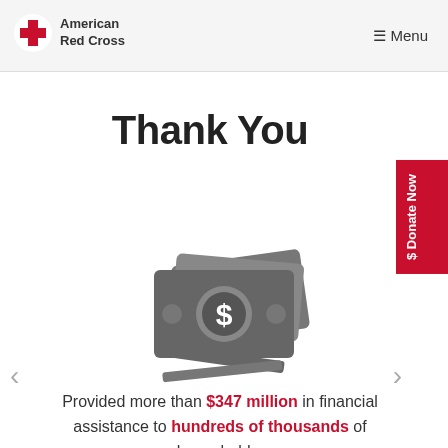American Red Cross  ☰ Menu
Thank You
[Figure (illustration): Gray icon of stacked dollar bills / money with a dollar sign circle in the center]
Provided more than $347 million in financial assistance to hundreds of thousands of households.